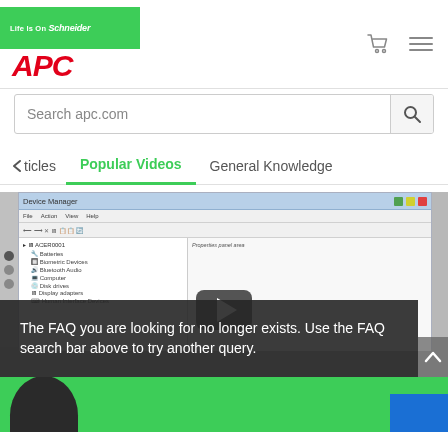[Figure (screenshot): APC / Schneider Electric website header with logo, cart icon, and hamburger menu]
[Figure (screenshot): Search bar with placeholder text 'Search apc.com' and search icon button]
< ticles   Popular Videos   General Knowledge
[Figure (screenshot): Video thumbnail showing Windows Device Manager screenshot with dark overlay. Overlay text: 'The FAQ you are looking for no longer exists. Use the FAQ search bar above to try another query.' Play button visible.]